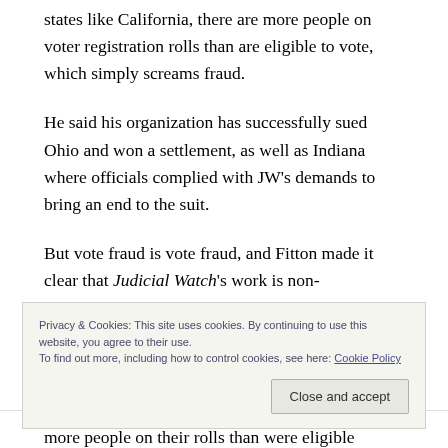states like California, there are more people on voter registration rolls than are eligible to vote, which simply screams fraud.
He said his organization has successfully sued Ohio and won a settlement, as well as Indiana where officials complied with JW's demands to bring an end to the suit.
But vote fraud is vote fraud, and Fitton made it clear that Judicial Watch's work is non-
Privacy & Cookies: This site uses cookies. By continuing to use this website, you agree to their use.
To find out more, including how to control cookies, see here: Cookie Policy
more people on their rolls than were eligible